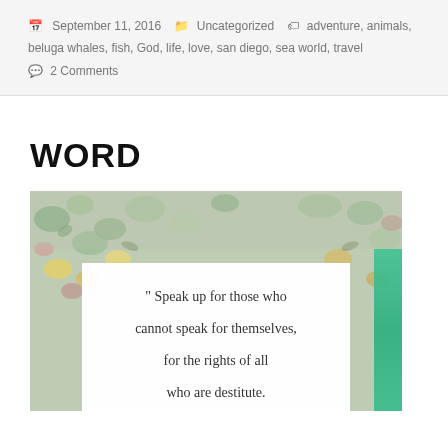September 11, 2016  Uncategorized  adventure, animals, beluga whales, fish, God, life, love, san diego, sea world, travel  2 Comments
WORD
[Figure (photo): Photo of a floral-patterned fabric or wallpaper background with a white card overlay showing a quote: " Speak up for those who cannot speak for themselves, for the rights of all who are destitute."]